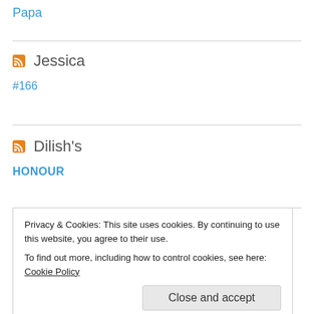Papa
Jessica #166
Dilish's HONOUR
Privacy & Cookies: This site uses cookies. By continuing to use this website, you agree to their use. To find out more, including how to control cookies, see here: Cookie Policy
Close and accept
Faith in Humanity - Restored